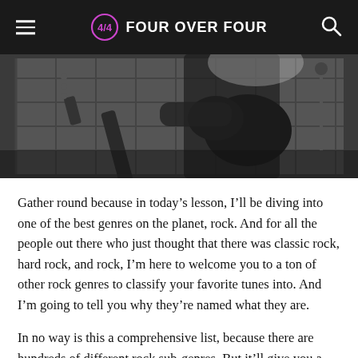FOUR OVER FOUR
[Figure (photo): Black and white photo of a person playing an electric guitar on stage]
Gather round because in today’s lesson, I’ll be diving into one of the best genres on the planet, rock. And for all the people out there who just thought that there was classic rock, hard rock, and rock, I’m here to welcome you to a ton of other rock genres to classify your favorite tunes into. And I’m going to tell you why they’re named what they are.
In no way is this a comprehensive list, because there are hundreds of different rock sub-genres. But it’ll give you a good overall vibe of just how deep down the rabbit hole